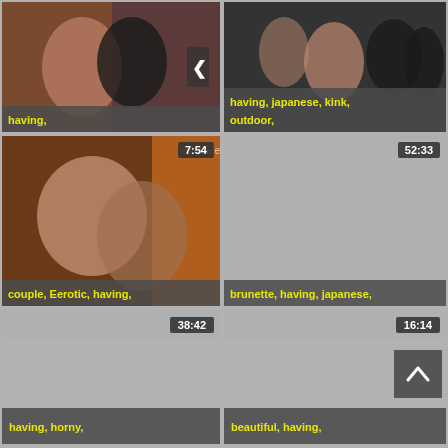[Figure (screenshot): Video thumbnail grid - top left: couple intimate scene with nav arrow, tags: having]
[Figure (screenshot): Video thumbnail - top right: japanese kink outdoor scene, tags: having, japanese, kink, outdoor]
[Figure (screenshot): Video thumbnail - middle left: couple erotic scene, duration 7:54, tags: couple, Eerotic, having]
[Figure (screenshot): Video thumbnail - middle right: brunette japanese, duration 52:33, tags: brunette, having, japanese]
[Figure (screenshot): Video placeholder - duration 38:42]
[Figure (screenshot): Video placeholder - duration 16:14]
[Figure (screenshot): Back to top button]
[Figure (screenshot): Video thumbnail - bottom left: tags: having, horny]
[Figure (screenshot): Video thumbnail - bottom right: tags: beautiful, having]
[Figure (screenshot): Duration 1:3:00]
[Figure (screenshot): Duration 23:00]